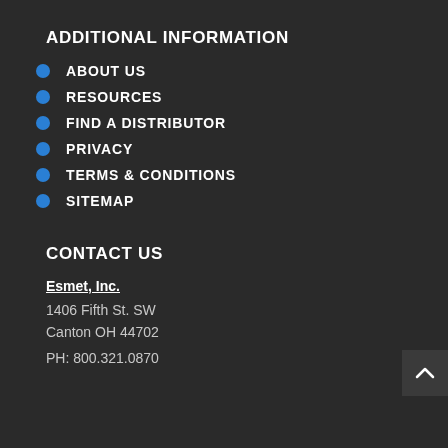ADDITIONAL INFORMATION
ABOUT US
RESOURCES
FIND A DISTRIBUTOR
PRIVACY
TERMS & CONDITIONS
SITEMAP
CONTACT US
Esmet, Inc.
1406 Fifth St. SW
Canton OH 44702
PH: 800.321.0870